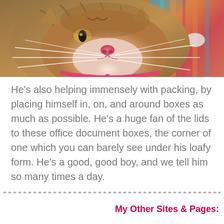[Figure (photo): Close-up photo of a tabby cat with a pink collar, whiskers prominent, face filling the frame. Colorful striped fabric visible in background.]
He's also helping immensely with packing, by placing himself in, on, and around boxes as much as possible. He's a huge fan of the lids to these office document boxes, the corner of one which you can barely see under his loafy form. He's a good, good boy, and we tell him so many times a day.
My Other Sites & Pages: